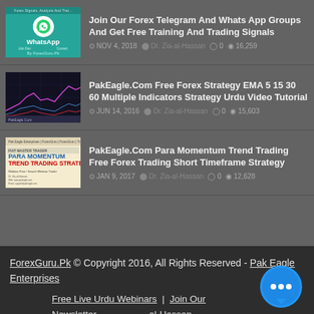Join Our Forex Telegram And Whats App Groups And Get Free Training And Trading Signals | NOV 4, 2018 | Dr. Zia-al-Hassan | 0 | 16,259
PakEagle.Com Free Forex Strategy EMA 5 15 30 60 Multiple Indicators Strategy Urdu Video Tutorial | JUN 14, 2016 | Dr. Zia-al-Hassan | 0 | 15,603
PakEagle.Com Para Momentum Trend Trading Free Forex Trading Short Timeframe Strategy | JAN 9, 2017 | Dr. Zia-al-Hassan | 0 | 12,628
ForexGuru.Pk © Copyright 2016, All Rights Reserved - Pak Eagle Enterprises  |  Free Live Urdu Webinars  |  Join Our Newsletter  |  Dr. Zia-al-Hassan  |  Contact Us